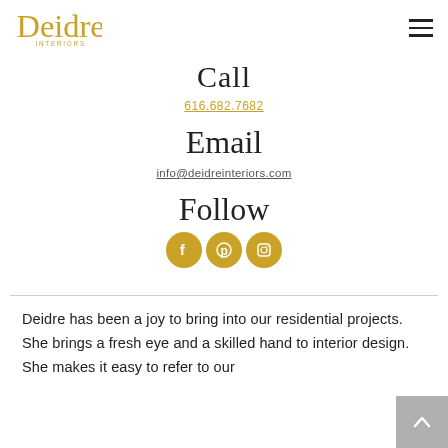Deidre Interiors logo and navigation
Call
616.682.7682
Email
info@deidreinteriors.com
Follow
[Figure (illustration): Three gold circular social media icons: Facebook, Pinterest, Instagram]
Deidre has been a joy to bring into our residential projects. She brings a fresh eye and a skilled hand to interior design. She makes it easy to refer to our